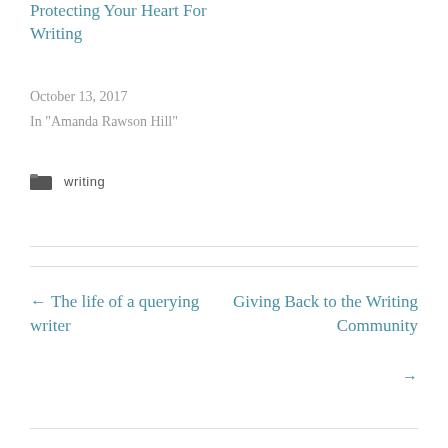Protecting Your Heart For Writing
October 13, 2017
In "Amanda Rawson Hill"
writing
← The life of a querying writer
Giving Back to the Writing Community →